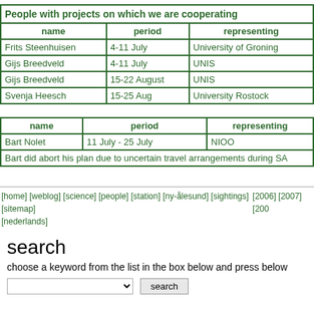| name | period | representing |
| --- | --- | --- |
| Frits Steenhuisen | 4-11 July | University of Groning |
| Gijs Breedveld | 4-11 July | UNIS |
| Gijs Breedveld | 15-22 August | UNIS |
| Svenja Heesch | 15-25 Aug | University Rostock |
| name | period | representing |
| --- | --- | --- |
| Bart Nolet | 11 July - 25 July | NIOO |
| Bart did abort his plan due to uncertain travel arrangements during SA |  |  |
[home] [weblog] [science] [people] [station] [ny-ålesund] [sightings] [sitemap] [nederlands] [2006] [2007] [200
search
choose a keyword from the list in the box below and press below